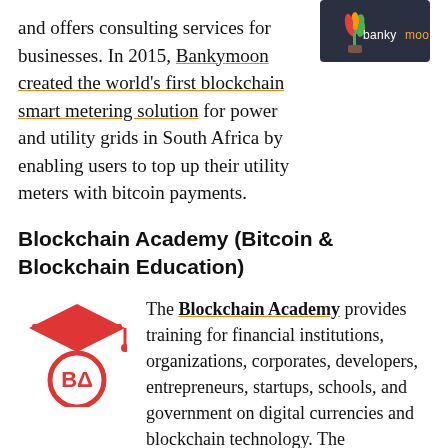and offers consulting services for businesses. In 2015, Bankymoon created the world's first blockchain smart metering solution for power and utility grids in South Africa by enabling users to top up their utility meters with bitcoin payments.
[Figure (logo): Bankymoon logo: dark navy background with colorful tulip/flower icon and text 'bankymoon' in white with orange 'y']
Blockchain Academy (Bitcoin & Blockchain Education)
[Figure (logo): Blockchain Academy logo: red circle with graduation cap on top and 'BA' letters inside the circle]
The Blockchain Academy provides training for financial institutions, organizations, corporates, developers, entrepreneurs, startups, schools, and government on digital currencies and blockchain technology. The Blockchain Academy was established to help individuals better understand how this technology can improve incumbent organizations, systems, and processes so that they can